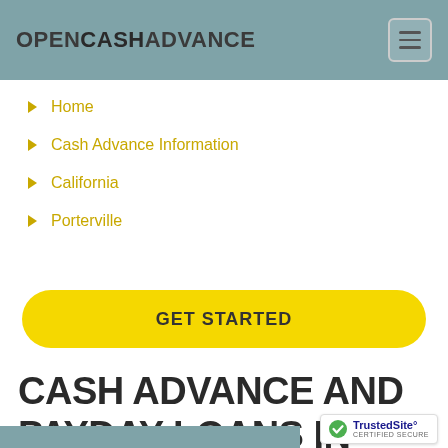OPENCASHADVANCE
Home
Cash Advance Information
California
Porterville
GET STARTED
CASH ADVANCE AND PAYDAY LOANS IN PORTERVILLE, CA